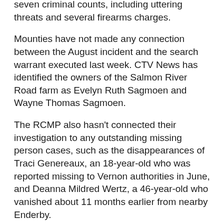seven criminal counts, including uttering threats and several firearms charges.
Mounties have not made any connection between the August incident and the search warrant executed last week. CTV News has identified the owners of the Salmon River Road farm as Evelyn Ruth Sagmoen and Wayne Thomas Sagmoen.
The RCMP also hasn't connected their investigation to any outstanding missing person cases, such as the disappearances of Traci Genereaux, an 18-year-old who was reported missing to Vernon authorities in June, and Deanna Mildred Wertz, a 46-year-old who vanished about 11 months earlier from nearby Enderby.
Nothing in the RCMP releases for Genereaux and Wertz's disappearances suggested they had any connection to escorting or the sex trade.
At least five women have been reported missing from